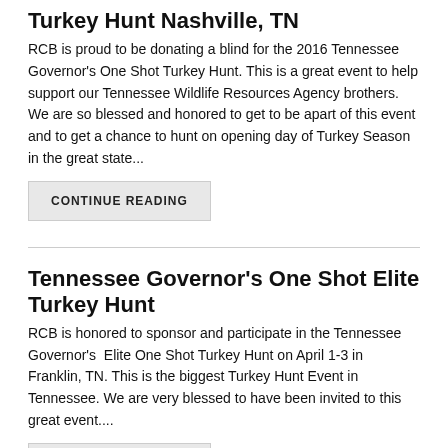Turkey Hunt Nashville, TN
RCB is proud to be donating a blind for the 2016 Tennessee Governor's One Shot Turkey Hunt. This is a great event to help support our Tennessee Wildlife Resources Agency brothers. We are so blessed and honored to get to be apart of this event and to get a chance to hunt on opening day of Turkey Season in the great state...
CONTINUE READING
Tennessee Governor's One Shot Elite Turkey Hunt
RCB is honored to sponsor and participate in the Tennessee Governor's  Elite One Shot Turkey Hunt on April 1-3 in Franklin, TN. This is the biggest Turkey Hunt Event in Tennessee. We are very blessed to have been invited to this great event....
CONTINUE READING